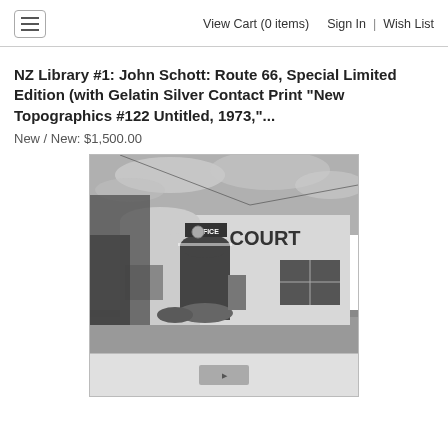View Cart (0 items)  Sign In | Wish List
NZ Library #1: John Schott: Route 66, Special Limited Edition (with Gelatin Silver Contact Print "New Topographics #122 Untitled, 1973,"...
New / New: $1,500.00
[Figure (photo): Black and white photograph of a low building with 'COURT' sign on the facade, trees on the left, overcast sky, vintage American motel or office exterior along Route 66.]